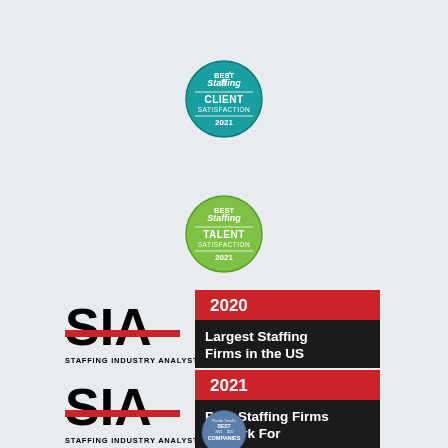[Figure (logo): Best of Staffing Client Satisfaction 2021 badge - teal/green circular badge]
[Figure (logo): Best of Staffing Talent Satisfaction 2021 badge - lime green circular badge]
[Figure (logo): SIA Staffing Industry Analysts - 2020 Largest Staffing Firms in the US award badge]
[Figure (logo): SIA Staffing Industry Analysts - 2021 Best Staffing Firms to Work For award badge]
[Figure (logo): Florida Trend Best Companies badge - partially visible at bottom]